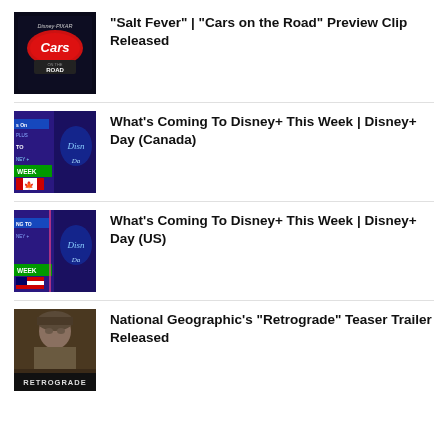[Figure (photo): Cars on the Road Disney Pixar logo/title card thumbnail]
“Salt Fever” | “Cars on the Road” Preview Clip Released
[Figure (photo): What’s Coming To Disney+ This Week Disney+ Day Canada thumbnail with Canadian flag]
What’s Coming To Disney+ This Week | Disney+ Day (Canada)
[Figure (photo): What’s Coming To Disney+ This Week Disney+ Day US thumbnail with US flag]
What’s Coming To Disney+ This Week | Disney+ Day (US)
[Figure (photo): National Geographic Retrograde teaser trailer thumbnail showing soldier face]
National Geographic’s “Retrograde” Teaser Trailer Released